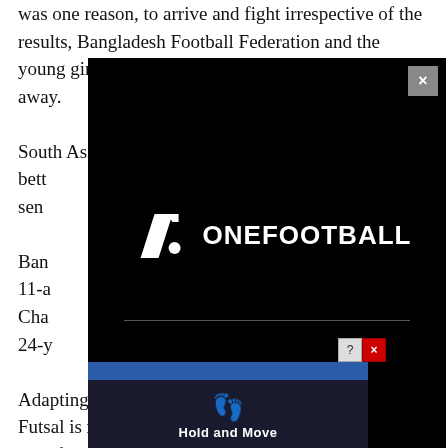was one reason, to arrive and fight irrespective of the results, Bangladesh Football Federation and the young girls should be given due credit for not shying away.
South Asian teams like Nepal, India, Maldives have bett[...] sen[...]
[Figure (screenshot): OneFootball app modal overlay on black background with white OneFootball logo (stylized '1.' icon followed by 'ONEFOOTBALL' text) and a horizontal divider line. A grey close button (×) appears in the top-right corner.]
Ban[...] 11-a[...] Cha[...] 24-y[...] ver.
Adapting from regular football to fast-paced indoor Futsal is not easy, not easy for 15-year-olds to adapt to unfamiliar tactics, understand switching of positions while attacking or falling back while defending. But the young [...] the proces[...] they
[Figure (screenshot): Small ad banner overlay at bottom showing 'Hold and Move' text with figure icon on dark background, with help (?) and close (×) buttons.]